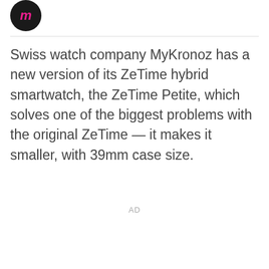[Figure (logo): Circular dark logo with pink/magenta italic text]
Swiss watch company MyKronoz has a new version of its ZeTime hybrid smartwatch, the ZeTime Petite, which solves one of the biggest problems with the original ZeTime — it makes it smaller, with 39mm case size.
AD